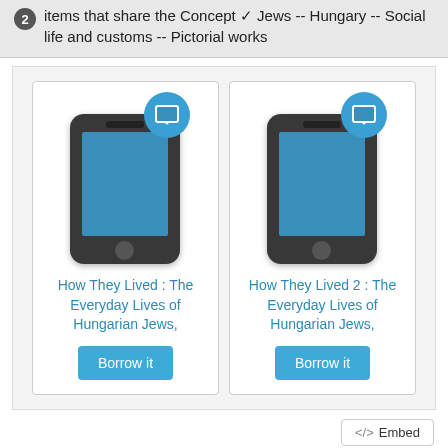2 items that share the Concept Jews -- Hungary -- Social life and customs -- Pictorial works
[Figure (screenshot): Two book cards showing 'How They Lived : The Everyday Lives of Hungarian Jews,' and 'How They Lived 2 : The Everyday Lives of Hungarian Jews,' each with a phone graphic with tablet badge icon and a 'Borrow it' button]
</> Embed
Context